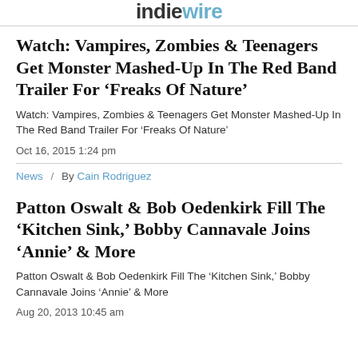IndieWire
Watch: Vampires, Zombies & Teenagers Get Monster Mashed-Up In The Red Band Trailer For ‘Freaks Of Nature’
Watch: Vampires, Zombies & Teenagers Get Monster Mashed-Up In The Red Band Trailer For ‘Freaks Of Nature’
Oct 16, 2015 1:24 pm
News / By Cain Rodriguez
Patton Oswalt & Bob Oedenkirk Fill The ‘Kitchen Sink,’ Bobby Cannavale Joins ‘Annie’ & More
Patton Oswalt & Bob Oedenkirk Fill The ‘Kitchen Sink,’ Bobby Cannavale Joins ‘Annie’ & More
Aug 20, 2013 10:45 am